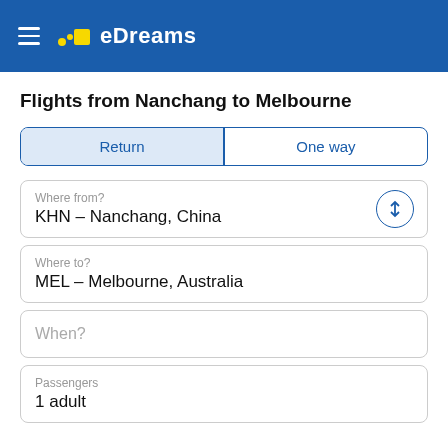eDreams
Flights from Nanchang to Melbourne
Return | One way
Where from?
KHN – Nanchang, China
Where to?
MEL – Melbourne, Australia
When?
Passengers
1 adult